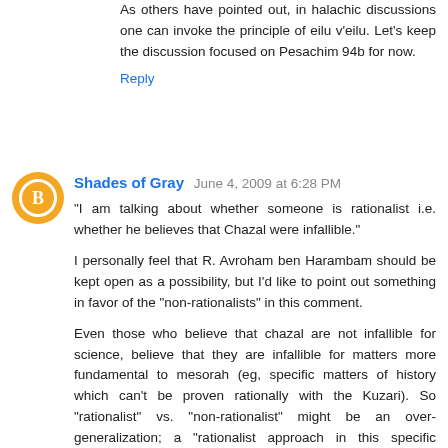As others have pointed out, in halachic discussions one can invoke the principle of eilu v'eilu. Let's keep the discussion focused on Pesachim 94b for now.
Reply
Shades of Gray  June 4, 2009 at 6:28 PM
"I am talking about whether someone is rationalist i.e. whether he believes that Chazal were infallible."
I personally feel that R. Avroham ben Harambam should be kept open as a possibility, but I'd like to point out something in favor of the "non-rationalists" in this comment.
Even those who believe that chazal are not infallible for science, believe that they are infallible for matters more fundamental to mesorah (eg, specific matters of history which can't be proven rationally with the Kuzari). So "rationalist" vs. "non-rationalist" might be an over-generalization; a "rationalist approach in this specific area(s)" or "more-rationalistic" might be appropriate. R. Slifkin touches on this dichotomy in his "Is Rationalism